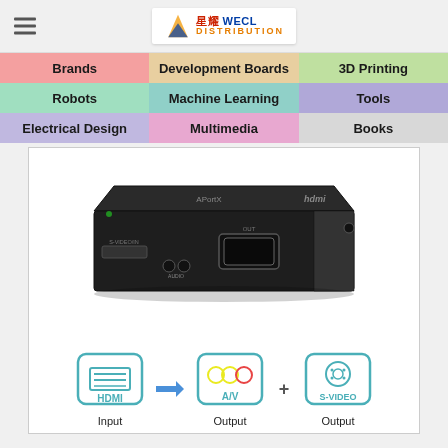WECL Distribution
Brands | Development Boards | 3D Printing | Robots | Machine Learning | Tools | Electrical Design | Multimedia | Books
[Figure (photo): Black HDMI to A/V + S-VIDEO converter device (top and front view showing HDMI port, audio jacks), with diagram below showing HDMI Input arrow to A/V Output + S-VIDEO Output]